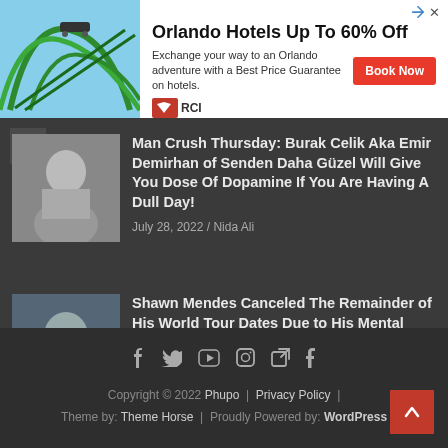[Figure (infographic): RCI advertisement banner: Orlando Hotels Up To 60% Off with roller coaster image, Book Now button, and RCI logo]
Man Crush Thursday: Burak Celik Aka Emir Demirhan of Senden Daha Güzel Will Give You Dose Of Dopamine If You Are Having A Dull Day!
July 28, 2022 / Nida Ali
Shawn Mendes Canceled The Remainder of His World Tour Dates Due to His Mental Health
July 28, 2022 / Nida Ali
Copyright © 2022 Phupo | Privacy Policy | Theme by: Theme Horse | Proudly Powered by: WordPress